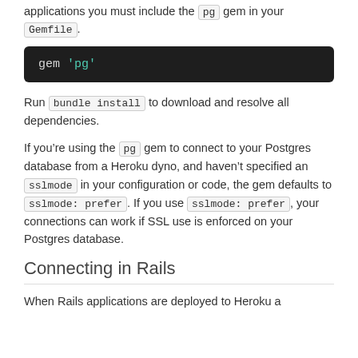applications you must include the pg gem in your Gemfile.
[Figure (screenshot): Code block showing: gem 'pg']
Run bundle install to download and resolve all dependencies.
If you’re using the pg gem to connect to your Postgres database from a Heroku dyno, and haven’t specified an sslmode in your configuration or code, the gem defaults to sslmode: prefer. If you use sslmode: prefer, your connections can work if SSL use is enforced on your Postgres database.
Connecting in Rails
When Rails applications are deployed to Heroku a